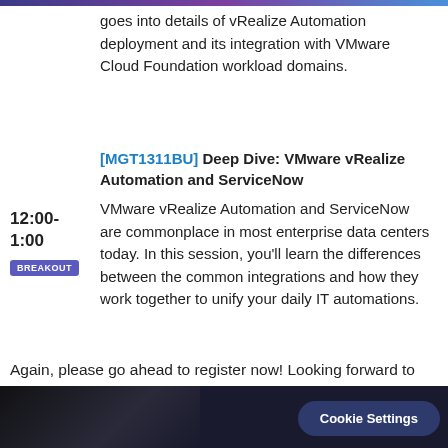goes into details of vRealize Automation deployment and its integration with VMware Cloud Foundation workload domains.
[MGT1311BU] Deep Dive: VMware vRealize Automation and ServiceNow
12:00-
1:00
BREAKOUT
VMware vRealize Automation and ServiceNow are commonplace in most enterprise data centers today. In this session, you'll learn the differences between the common integrations and how they work together to unify your daily IT automations.
Again, please go ahead to register now! Looking forward to seeing you all there, soon!
[Figure (photo): Dark image of a person at the bottom of the page with a Cookie Settings button overlay]